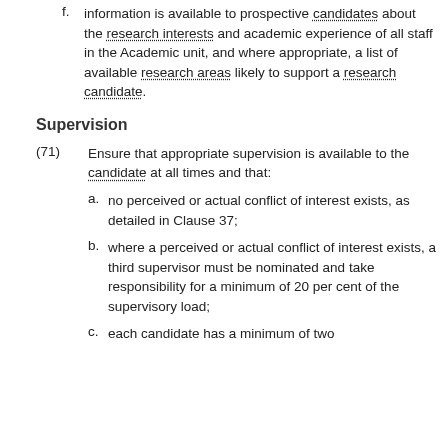f. information is available to prospective candidates about the research interests and academic experience of all staff in the Academic unit, and where appropriate, a list of available research areas likely to support a research candidate.
Supervision
(71) Ensure that appropriate supervision is available to the candidate at all times and that:
a. no perceived or actual conflict of interest exists, as detailed in Clause 37;
b. where a perceived or actual conflict of interest exists, a third supervisor must be nominated and take responsibility for a minimum of 20 per cent of the supervisory load;
c. each candidate has a minimum of two